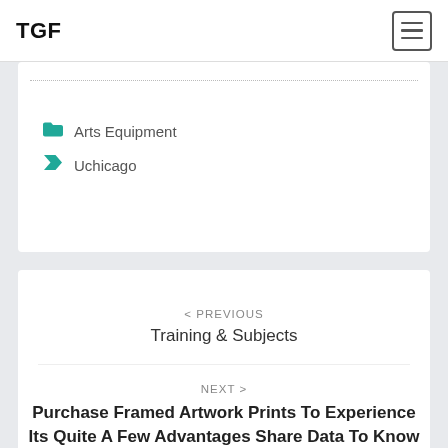TGF
Arts Equipment
Uchicago
< PREVIOUS
Training & Subjects
NEXT >
Purchase Framed Artwork Prints To Experience Its Quite A Few Advantages Share Data To Know Each